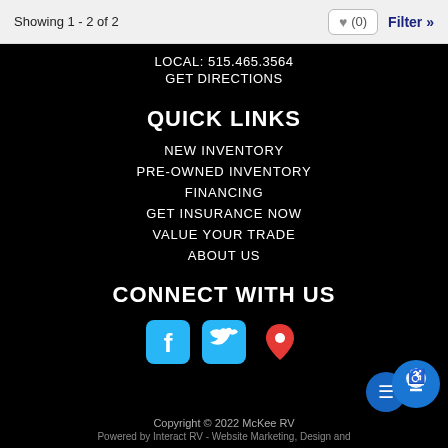Showing 1 - 2 of 2  ♥ (0)  Filter »
LOCAL: 515.465.3564
GET DIRECTIONS
QUICK LINKS
NEW INVENTORY
PRE-OWNED INVENTORY
FINANCING
GET INSURANCE NOW
VALUE YOUR TRADE
ABOUT US
CONNECT WITH US
[Figure (illustration): Social media icons: Facebook (blue), Twitter (blue), Location pin (red/orange)]
Copyright © 2022 McKee RV
Powered by Interact RV - Website Marketing, Design and...